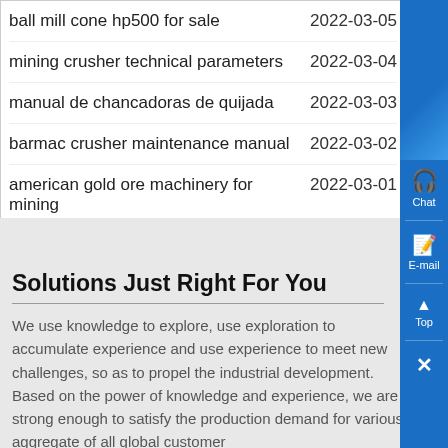ball mill cone hp500 for sale  2022-03-05
mining crusher technical parameters  2022-03-04
manual de chancadoras de quijada  2022-03-03
barmac crusher maintenance manual  2022-03-02
american gold ore machinery for mining  2022-03-01
Solutions Just Right For You
We use knowledge to explore, use exploration to accumulate experience and use experience to meet new challenges, so as to propel the industrial development. Based on the power of knowledge and experience, we are strong enough to satisfy the production demand for various aggregate of all global customer